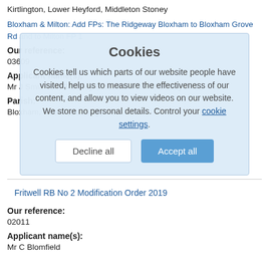Kirtlington, Lower Heyford, Middleton Stoney
Bloxham & Milton: Add FPs: The Ridgeway Bloxham to Bloxham Grove Rd and to Milton FP 1
Our reference:
03609
Applicant name(s):
Mr J Smithson, 3 Barley CloseBloxham, BanburyOX15 4NJ
Parish:
Bloxham, Milton (Banbury)
Cookies
Cookies tell us which parts of our website people have visited, help us to measure the effectiveness of our content, and allow you to view videos on our website. We store no personal details. Control your cookie settings.
Fritwell RB No 2 Modification Order 2019
Our reference:
02011
Applicant name(s):
Mr C Blomfield